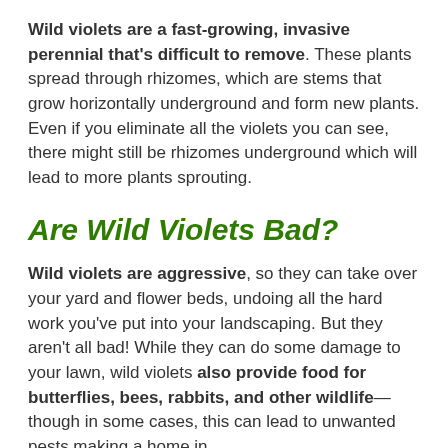Wild violets are a fast-growing, invasive perennial that's difficult to remove. These plants spread through rhizomes, which are stems that grow horizontally underground and form new plants. Even if you eliminate all the violets you can see, there might still be rhizomes underground which will lead to more plants sprouting.
Are Wild Violets Bad?
Wild violets are aggressive, so they can take over your yard and flower beds, undoing all the hard work you've put into your landscaping. But they aren't all bad! While they can do some damage to your lawn, wild violets also provide food for butterflies, bees, rabbits, and other wildlife—though in some cases, this can lead to unwanted pests making a home in